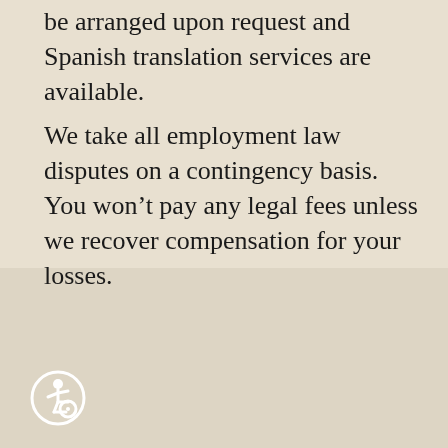be arranged upon request and Spanish translation services are available.
We take all employment law disputes on a contingency basis. You won't pay any legal fees unless we recover compensation for your losses.
[Figure (illustration): Wheelchair accessibility icon — a white stick figure in a wheelchair inside a white circle outline on a dark beige background]